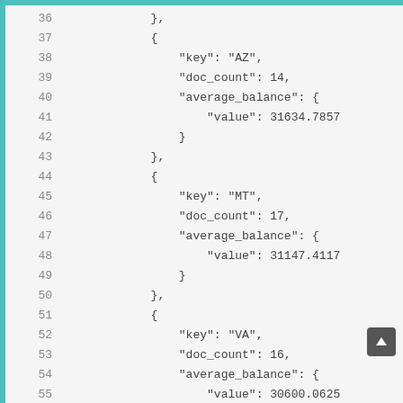Code listing showing JSON data with keys AZ (doc_count: 14, average_balance value: 31634.7857), MT (doc_count: 17, average_balance value: 31147.4117), and VA (doc_count: 16, average_balance value: 30600.0625), lines 36-55